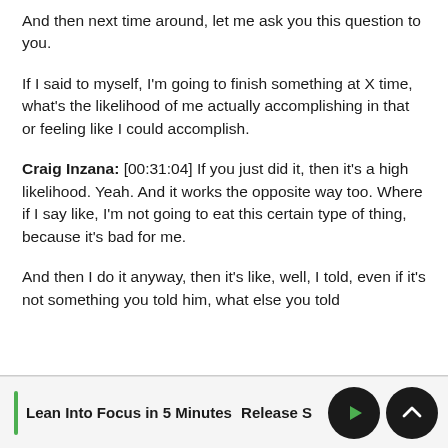And then next time around, let me ask you this question to you.
If I said to myself, I'm going to finish something at X time, what's the likelihood of me actually accomplishing in that or feeling like I could accomplish.
Craig Inzana: [00:31:04] If you just did it, then it's a high likelihood. Yeah. And it works the opposite way too. Where if I say like, I'm not going to eat this certain type of thing, because it's bad for me.
And then I do it anyway, then it's like, well, I told, even if it's not something you told him, what else you told
Lean Into Focus in 5 Minutes   Release S